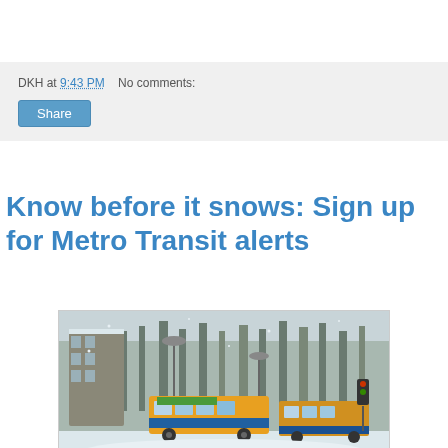DKH at 9:43 PM   No comments:
Share
Know before it snows: Sign up for Metro Transit alerts
[Figure (photo): Two Metro Transit buses driving through a snow-covered urban street with snow-laden trees and buildings in a wintry setting.]